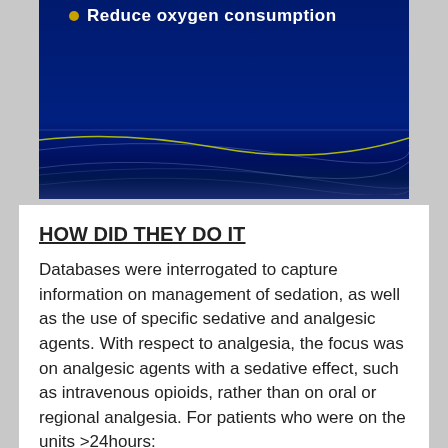[Figure (screenshot): Dark blue banner with gold bullet point and white text reading 'Reduce oxygen consumption', with decorative curved lines at bottom]
HOW DID THEY DO IT
Databases were interrogated to capture information on management of sedation, as well as the use of specific sedative and analgesic agents. With respect to analgesia, the focus was on analgesic agents with a sedative effect, such as intravenous opioids, rather than on oral or regional analgesia. For patients who were on the units >24hours:
Numbers (percentages) of sedated patients were reported.
Those considered for and/or receiving a